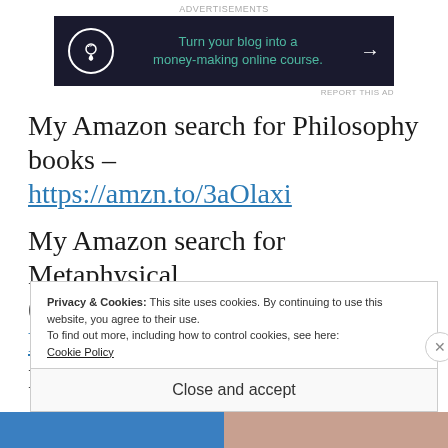[Figure (screenshot): Advertisement banner with dark background, bonsai tree icon, teal text: 'Turn your blog into a money-making online course.' with arrow]
My Amazon search for Philosophy books – https://amzn.to/3aOlaxi
My Amazon search for Metaphysical (books) – https://amzn.to/38D7QJn
Privacy & Cookies: This site uses cookies. By continuing to use this website, you agree to their use.
To find out more, including how to control cookies, see here: Cookie Policy
Close and accept